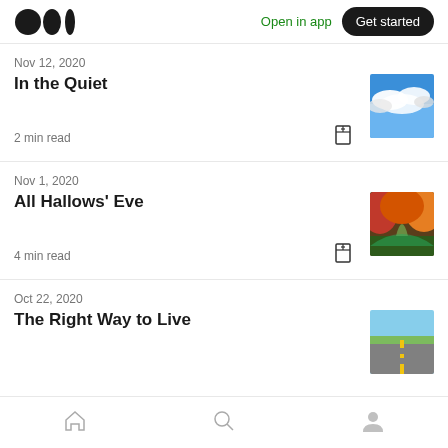Medium logo | Open in app | Get started
Nov 12, 2020
In the Quiet
2 min read
Nov 1, 2020
All Hallows' Eve
4 min read
Oct 22, 2020
The Right Way to Live
Home | Search | Profile